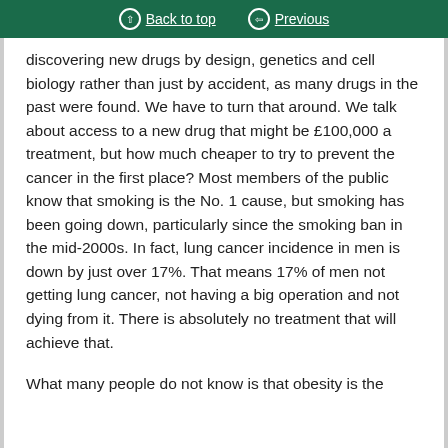Back to top  Previous
discovering new drugs by design, genetics and cell biology rather than just by accident, as many drugs in the past were found. We have to turn that around. We talk about access to a new drug that might be £100,000 a treatment, but how much cheaper to try to prevent the cancer in the first place? Most members of the public know that smoking is the No. 1 cause, but smoking has been going down, particularly since the smoking ban in the mid-2000s. In fact, lung cancer incidence in men is down by just over 17%. That means 17% of men not getting lung cancer, not having a big operation and not dying from it. There is absolutely no treatment that will achieve that.
What many people do not know is that obesity is the